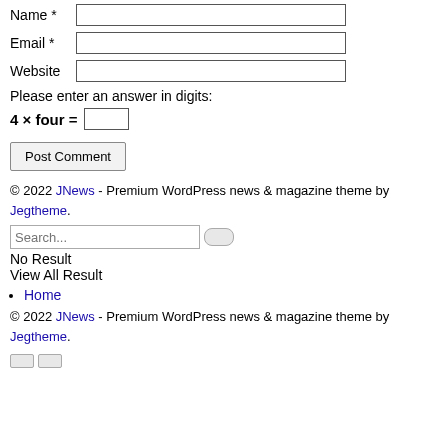Name *
Email *
Website
Please enter an answer in digits:
Post Comment
© 2022 JNews - Premium WordPress news & magazine theme by Jegtheme.
Search...
No Result
View All Result
Home
© 2022 JNews - Premium WordPress news & magazine theme by Jegtheme.